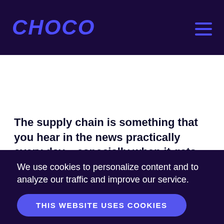CHOCO
The supply chain is something that you hear in the news practically every day – especially when it gets disrupted. But how does the supply chain really work for restaurants?
We use cookies to personalize content and to analyze our traffic and improve our service.
THIS WEBSITE USES COOKIES